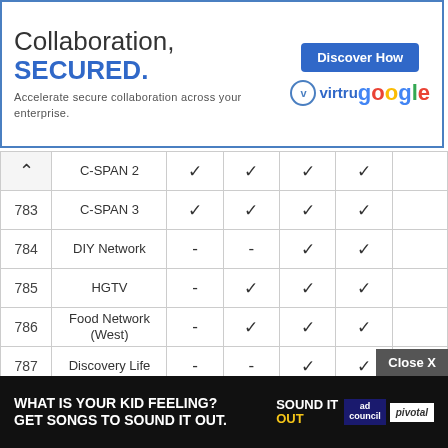[Figure (other): Advertisement banner: 'Collaboration, SECURED. Accelerate secure collaboration across your enterprise.' with Virtu/Google logo and 'Discover How' button]
|  | Channel | Col1 | Col2 | Col3 | Col4 | Col5 |
| --- | --- | --- | --- | --- | --- | --- |
| ^ | C-SPAN 2 | ✓ | ✓ | ✓ | ✓ |  |
| 783 | C-SPAN 3 | ✓ | ✓ | ✓ | ✓ |  |
| 784 | DIY Network | - | - | ✓ | ✓ |  |
| 785 | HGTV | - | ✓ | ✓ | ✓ |  |
| 786 | Food Network (West) | - | ✓ | ✓ | ✓ |  |
| 787 | Discovery Life | - | - | ✓ | ✓ |  |
| 788 | Science Channel | - | - | - | ✓ |  |
| 789 | Discovery Family | - | - | - | ✓ |  |
| 790 | Disney Channel | - | ✓ | ✓ | ✓ |  |
| 791 |  |  |  |  |  |  |
[Figure (other): Bottom advertisement: 'What is your kid feeling? Get songs to sound it out.' Sound It Out campaign by Ad Council and Pivotal]